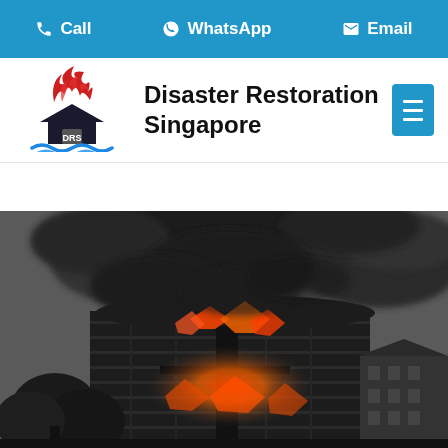Call  WhatsApp  Email
[Figure (logo): Disaster Restoration Singapore (DRS) logo with flame and water wave imagery]
Disaster Restoration Singapore
[Figure (photo): Black and white photograph of a large building engulfed in fire with heavy smoke billowing upward, orange flames visible through windows, trees and adjacent buildings visible]